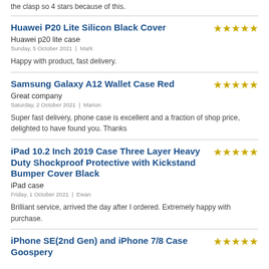the clasp so 4 stars because of this.
Huawei P20 Lite Silicon Black Cover
Huawei p20 lite case
Sunday, 5 October 2021  |  Mark
Happy with product, fast delivery.
Samsung Galaxy A12 Wallet Case Red
Great company
Saturday, 2 October 2021  |  Marion
Super fast delivery, phone case is excellent and a fraction of shop price, delighted to have found you. Thanks
iPad 10.2 Inch 2019 Case Three Layer Heavy Duty Shockproof Protective with Kickstand Bumper Cover Black
iPad case
Friday, 1 October 2021  |  Ewan
Brilliant service, arrived the day after I ordered. Extremely happy with purchase.
iPhone SE(2nd Gen) and iPhone 7/8 Case Goospery